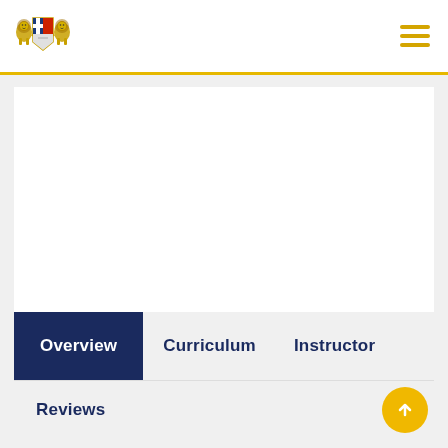University course page header with logo and navigation menu
[Figure (screenshot): University/institution coat of arms logo with two lions and a shield in blue and yellow]
[Figure (screenshot): Hamburger menu icon with three horizontal yellow lines]
[Figure (screenshot): White blank video/content area placeholder]
Overview
Curriculum
Instructor
Reviews